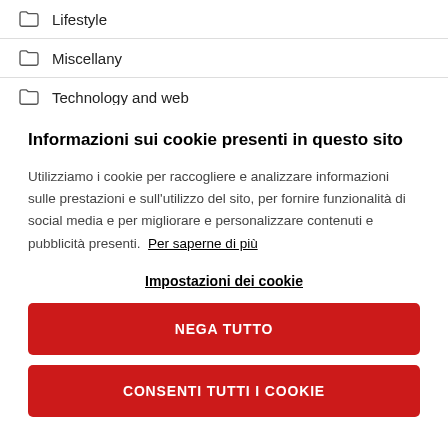Lifestyle
Miscellany
Technology and web
Informazioni sui cookie presenti in questo sito
Utilizziamo i cookie per raccogliere e analizzare informazioni sulle prestazioni e sull'utilizzo del sito, per fornire funzionalità di social media e per migliorare e personalizzare contenuti e pubblicità presenti. Per saperne di più
Impostazioni dei cookie
NEGA TUTTO
CONSENTI TUTTI I COOKIE